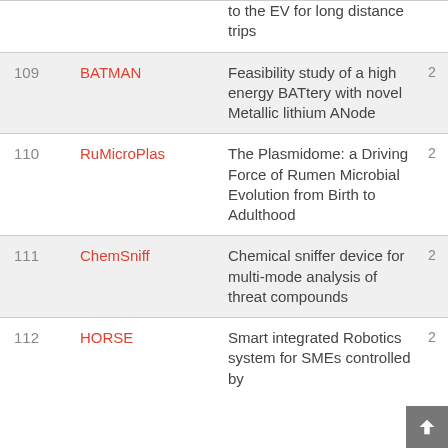| # | Name | Title |  |
| --- | --- | --- | --- |
|  |  | to the EV for long distance trips |  |
| 109 | BATMAN | Feasibility study of a high energy BATtery with novel Metallic lithium ANode | 2 |
| 110 | RuMicroPlas | The Plasmidome: a Driving Force of Rumen Microbial Evolution from Birth to Adulthood | 2 |
| 111 | ChemSniff | Chemical sniffer device for multi-mode analysis of threat compounds | 2 |
| 112 | HORSE | Smart integrated Robotics system for SMEs controlled by | 2 |